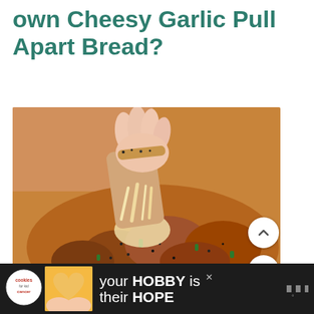own Cheesy Garlic Pull Apart Bread?
[Figure (photo): Close-up photo of cheesy garlic pull-apart bread on a baking sheet, with a hand pulling apart a piece showing melted cheese stretching, garnished with green onions and poppy seeds.]
[Figure (infographic): Advertisement banner: 'cookies kid cancer' logo on dark background with an image of hands holding a heart-shaped cookie and text reading 'your HOBBY is their HOPE' with a close button and wireless logo on the right.]